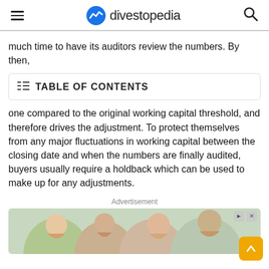divestopedia
much time to have its auditors review the numbers. By then,
TABLE OF CONTENTS
one compared to the original working capital threshold, and therefore drives the adjustment. To protect themselves from any major fluctuations in working capital between the closing date and when the numbers are finally audited, buyers usually require a holdback which can be used to make up for any adjustments.
Advertisement
[Figure (photo): Advertisement banner showing elderly people smiling]